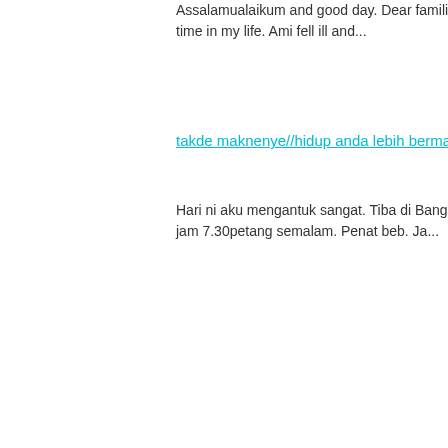Assalamualaikum and good day. Dear families and friends. The past twelve days have been the toughest time in my life. Ami fell ill and...
takde maknenye//hidup anda lebih bermakna dengan shades ala Juno ni.
Hari ni aku mengantuk sangat. Tiba di Bangi hampir jam 12 malam.. bertolak dari Hutan Melintang, Perak jam 7.30petang semalam. Penat beb. Ja...
WIWT
WIWT
DIY: C...
WIWT
FASH...
prelov...
WIWT
Shopp...
EVEN...
EVEN...
WIWT
TRAV...
WIWT
TRAV...
► Mar 2...
► Feb 2...
► 2011 (1...
► 2010 (2...